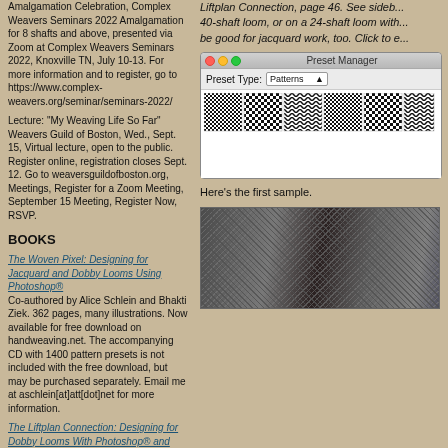Amalgamation Celebration, Complex Weavers Seminars 2022 Amalgamation for 8 shafts and above, presented via Zoom at Complex Weavers Seminars 2022, Knoxville TN, July 10-13. For more information and to register, go to https://www.complex-weavers.org/seminar/seminars-2022/
Lecture: "My Weaving Life So Far" Weavers Guild of Boston, Wed., Sept. 15, Virtual lecture, open to the public. Register online, registration closes Sept. 12. Go to weaversguildofboston.org, Meetings, Register for a Zoom Meeting, September 15 Meeting, Register Now, RSVP.
BOOKS
The Woven Pixel: Designing for Jacquard and Dobby Looms Using Photoshop® Co-authored by Alice Schlein and Bhakti Ziek. 362 pages, many illustrations. Now available for free download on handweaving.net. The accompanying CD with 1400 pattern presets is not included with the free download, but may be purchased separately. Email me at aschlein[at]att[dot]net for more information.
The Liftplan Connection: Designing for Dobby Looms With Photoshop® and Photoshop Elements® By Alice Schlein. Build your own weave library. Design liftplans for your dobby loom. 157 pages, spiral bound, many illustrations. Now available as
Liftplan Connection, page 46. See sideb...40-shaft loom, or on a 24-shaft loom with...be good for jacquard work, too. Click to e...
[Figure (screenshot): Photoshop Preset Manager window showing Preset Type: Patterns with a row of weave pattern thumbnails displayed]
Here's the first sample.
[Figure (photo): Close-up photo of a woven textile sample showing a grey/black weave structure with some colored threads visible]